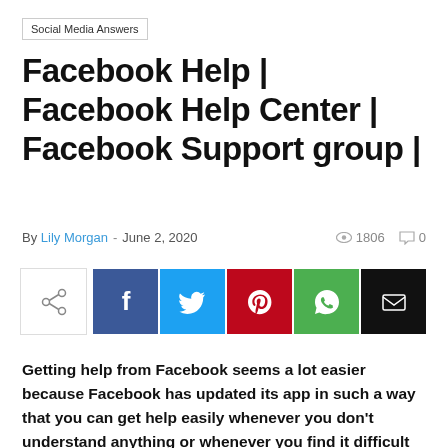Social Media Answers
Facebook Help | Facebook Help Center | Facebook Support group |
By Lily Morgan - June 2, 2020  1806  0
[Figure (infographic): Social share bar with share icon, Facebook (blue), Twitter (light blue), Pinterest (red), WhatsApp (green), and Email (black) buttons]
Getting help from Facebook seems a lot easier because Facebook has updated its app in such a way that you can get help easily whenever you don't understand anything or whenever you find it difficult accessing your Facebook account.